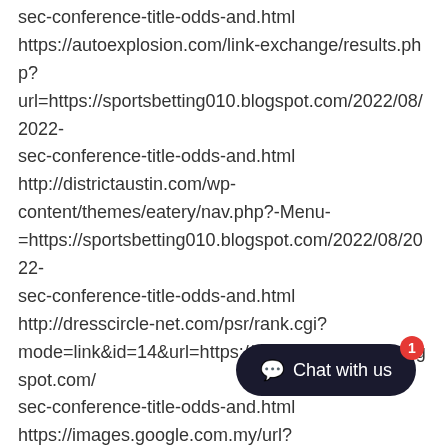sec-conference-title-odds-and.html https://autoexplosion.com/link-exchange/results.php?url=https://sportsbetting010.blogspot.com/2022/08/2022-sec-conference-title-odds-and.html http://districtaustin.com/wp-content/themes/eatery/nav.php?-Menu-=https://sportsbetting010.blogspot.com/2022/08/2022-sec-conference-title-odds-and.html http://dresscircle-net.com/psr/rank.cgi?mode=link&id=14&url=https://sportsbetting010.blogspot.com/sec-conference-title-odds-and.html https://images.google.com.my/url?sa=t&url=https://sportstoto7.com/ https://images.google.com.mx/url?sa=t&url=https://sportstoto7.com/ https://images.google.com.mt/url?sa=t&url=https://sportstoto7.com/